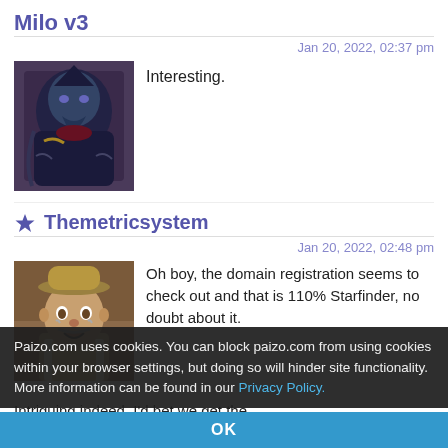Milo v3
Jan 20, 2022, 02:37 pm
[Figure (photo): Avatar image of a fantasy creature/monster character wearing a dark cloak]
Interesting.
Themetricsystem
Jan 20, 2022, 02:48 pm
[Figure (photo): Avatar image of an older man with a hat, looking surprised]
Oh boy, the domain registration seems to check out and that is 110% Starfinder, no doubt about it.
Intriguing indeed, I'd bet we get the official announcement at PaizoCon, and by the looks
Paizo.com uses cookies. You can block paizo.com from using cookies within your browser settings, but doing so will hinder site functionality. More information can be found in our Privacy Policy.
OK